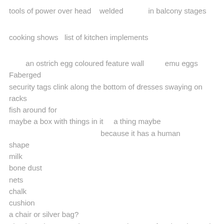tools of power over head    welded             in balcony stages
cooking shows   list of kitchen implements
an ostrich egg coloured feature wall          emu eggs
Faberged
security tags clink along the bottom of dresses swaying on racks
fish around for
maybe a box with things in it     a thing maybe
                                             because it has a human
shape
milk
bone dust
nets
chalk
cushion
a chair or silver bag?
aluminum honeycomb                    She gave four legs instead
of two,

                                                      despite roughly

human features